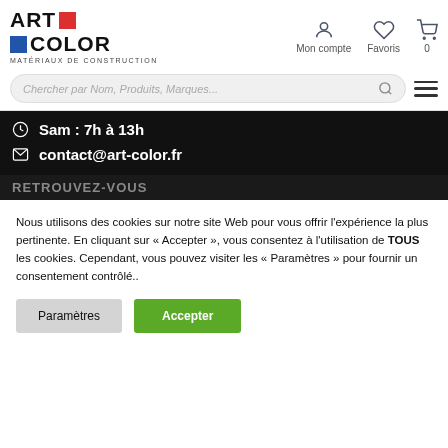[Figure (logo): Art Color logo with red square and blue square, subtitle MATÉRIAUX DE CONSTRUCTION]
[Figure (infographic): Navigation icons: Mon compte (user icon), Favoris (heart icon), cart with 0]
[Figure (screenshot): Search bar with placeholder 'Chercher par Nom, Produits, Marques...' and hamburger menu icon]
Sam : 7h à 13h
contact@art-color.fr
RETROUVEZ-VOUS
Nous utilisons des cookies sur notre site Web pour vous offrir l'expérience la plus pertinente. En cliquant sur « Accepter », vous consentez à l'utilisation de TOUS les cookies. Cependant, vous pouvez visiter les « Paramètres » pour fournir un consentement contrôlé..
Paramètres
Accepter